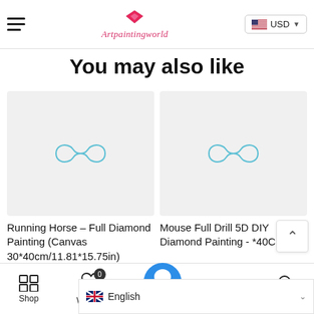Artpaintingworld — USD currency selector
You may also like
[Figure (photo): Product placeholder image for Running Horse diamond painting]
Running Horse – Full Diamond Painting (Canvas 30*40cm/11.81*15.75in)
[Figure (photo): Product placeholder image for Mouse Full Drill 5D DIY diamond painting]
Mouse Full Drill 5D DIY Diamond Painting - *40CM
Shop   Wishlist 0   Cart   English   Search